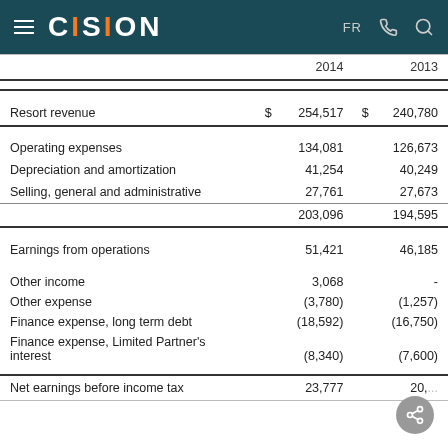CISION — FR
|  | 2014 | 2013 |
| --- | --- | --- |
| Resort revenue | $ 254,517 | $ 240,780 |
| Operating expenses | 134,081 | 126,673 |
| Depreciation and amortization | 41,254 | 40,249 |
| Selling, general and administrative | 27,761 | 27,673 |
|  | 203,096 | 194,595 |
| Earnings from operations | 51,421 | 46,185 |
| Other income | 3,068 | - |
| Other expense | (3,780) | (1,257) |
| Finance expense, long term debt | (18,592) | (16,750) |
| Finance expense, Limited Partner's interest | (8,340) | (7,600) |
| Net earnings before income tax | 23,777 | 20,... |